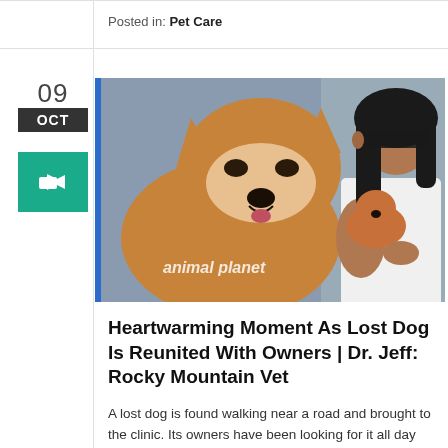Posted in: Pet Care
[Figure (photo): A woman wearing sunglasses holds a small orange dog (Shiba Inu puppy) while a large adult Shiba Inu dog leans in close. The image has an 'animal planet' watermark at the bottom.]
Heartwarming Moment As Lost Dog Is Reunited With Owners | Dr. Jeff: Rocky Mountain Vet
A lost dog is found walking near a road and brought to the clinic. Its owners have been looking for it all day